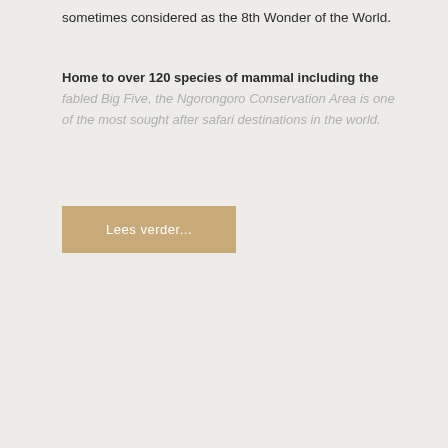sometimes considered as the 8th Wonder of the World.
Home to over 120 species of mammal including the fabled Big Five, the Ngorongoro Conservation Area is one of the most sought after safari destinations in the world.
Lees verder...